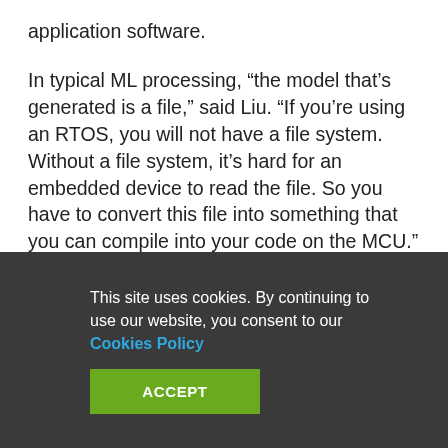application software.
In typical ML processing, “the model that’s generated is a file,” said Liu. “If you’re using an RTOS, you will not have a file system. Without a file system, it’s hard for an embedded device to read the file. So you have to convert this file into something that you can compile into your code on the MCU.”
As accelerators evolve to serve these small devices, they may take over much of the heavy lifting from the MCU. But such accelerators would need to be in the
This site uses cookies. By continuing to use our website, you consent to our Cookies Policy
ACCEPT